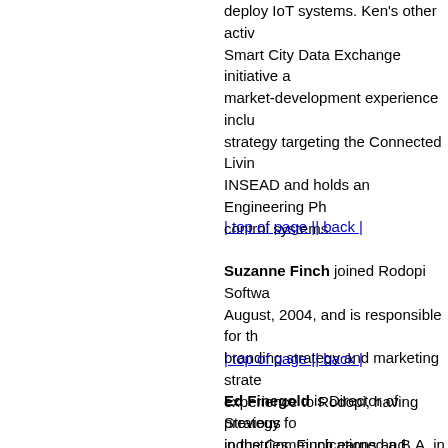deploy IoT systems. Ken's other activ... Smart City Data Exchange initiative a... market-development experience inclu... strategy targeting the Connected Livin... INSEAD and holds an Engineering Ph... control systems.
| top of page || back |
Suzanne Finch joined Rodopi Softwa... August, 2004, and is responsible for th... branding strategy and marketing strate... experience to Rodopi, having previous... industries. Finch earned a B.A. in jou...
| top of page || back |
Ed Finegold is Director of Strategy fo... in the Communications and Media ind... than 18 years he has been a software... and frequent presenter at major indus...
| top of page || back |
Jaime Fink is Co-Founder and CPO a...
| top of page || back |